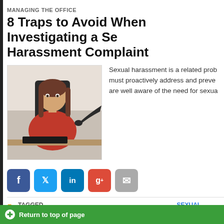MANAGING THE OFFICE
8 Traps to Avoid When Investigating a Sexual Harassment Complaint
[Figure (photo): A woman in a red shirt sitting at a desk with a keyboard, looking upset, while a hand reaches toward her from behind]
Sexual harassment is a related prob must proactively address and preve are well aware of the need for sexua
[Figure (infographic): Social share buttons: Facebook, Twitter, LinkedIn, Google+, Email]
TAGGED WITH: EEOC, INVESTIGATIONS, PROCEDURES, SEXUAL HARASS
Return to top of page